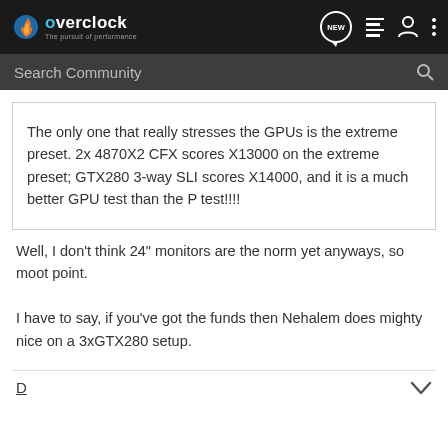overclock - The pursuit of performance - Search Community
The only one that really stresses the GPUs is the extreme preset. 2x 4870X2 CFX scores X13000 on the extreme preset; GTX280 3-way SLI scores X14000, and it is a much better GPU test than the P test!!!!
Well, I don't think 24" monitors are the norm yet anyways, so moot point.

I have to say, if you've got the funds then Nehalem does mighty nice on a 3xGTX280 setup.
D